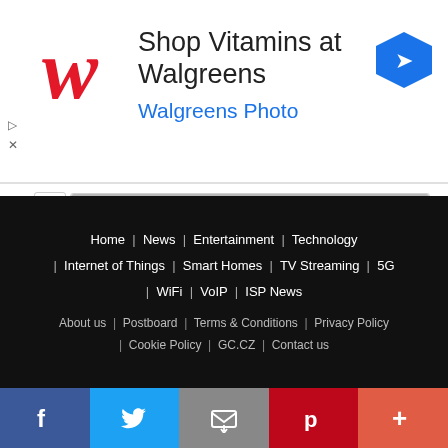[Figure (screenshot): Walgreens advertisement banner with red cursive W logo, text 'Shop Vitamins at Walgreens' and blue 'Walgreens Photo' subtitle, with a blue navigation arrow icon on the right]
[Figure (bar-chart): Poll results]
Previous vote | Discuss this article
Poll Details
Home | News | Entertainment | Technology | Internet of Things | Smart Homes | TV Streaming | 5G | WiFi | VoIP | ISP News
About us | Postboard | Terms & Conditions | Privacy Policy | Cookie Policy | GC.CZ | Contact us